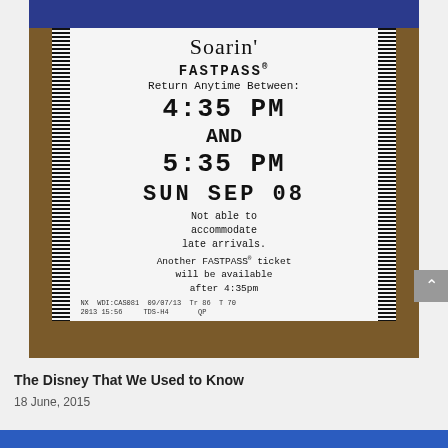[Figure (photo): A photograph of a Soarin' FASTPASS ticket held in a hand. The ticket reads: Soarin' FASTPASS® Return Anytime Between: 4:35 PM AND 5:35 PM SUN SEP 08. Not able to accommodate late arrivals. Another FASTPASS® ticket will be available after 4:35pm. Barcode on left and right sides. Bottom meta: NX WDI:CAS081 09/07/13 Tr 86 T 70 2013 15:56 TDS-H4 QP. Blue bar at top.]
The Disney That We Used to Know
18 June, 2015